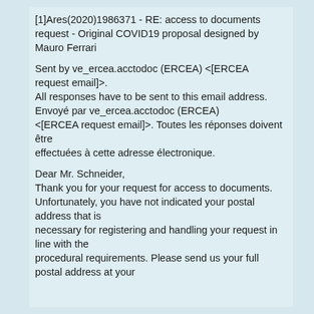[1]Ares(2020)1986371 - RE: access to documents request - Original COVID19 proposal designed by Mauro Ferrari
Sent by ve_ercea.acctodoc (ERCEA) <[ERCEA request email]>.
All responses have to be sent to this email address.
Envoyé par ve_ercea.acctodoc (ERCEA) <[ERCEA request email]>. Toutes les réponses doivent être
effectuées à cette adresse électronique.
Dear Mr. Schneider,
Thank you for your request for access to documents. Unfortunately, you have not indicated your postal address that is
necessary for registering and handling your request in line with the
procedural requirements. Please send us your full postal address at your